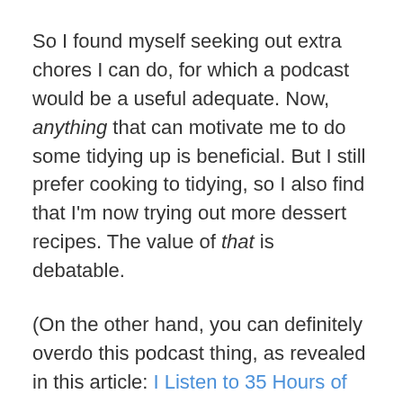So I found myself seeking out extra chores I can do, for which a podcast would be a useful adequate. Now, anything that can motivate me to do some tidying up is beneficial. But I still prefer cooking to tidying, so I also find that I'm now trying out more dessert recipes. The value of that is debatable.
(On the other hand, you can definitely overdo this podcast thing, as revealed in this article: I Listen to 35 Hours of Podcasts Every Week. Is That … Bad? Answer: yeah, kind of… And towhich I say… 35 hours a week! Jesus. When do you do… anything else?)
There seems to be podcasts about every topic under the sun, and I'm not always sure how I stumbled upon the ones I try to listen to semi-regularly. But here's a sampling